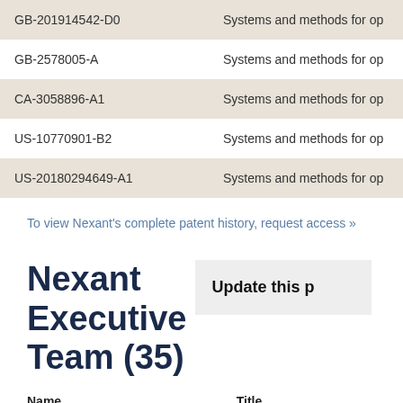| Patent ID | Description |
| --- | --- |
| GB-201914542-D0 | Systems and methods for op |
| GB-2578005-A | Systems and methods for op |
| CA-3058896-A1 | Systems and methods for op |
| US-10770901-B2 | Systems and methods for op |
| US-20180294649-A1 | Systems and methods for op |
To view Nexant's complete patent history, request access »
Nexant Executive Team (35)
| Name | Title |
| --- | --- |